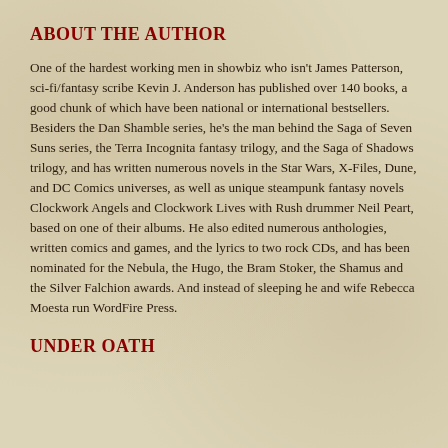ABOUT THE AUTHOR
One of the hardest working men in showbiz who isn't James Patterson, sci-fi/fantasy scribe Kevin J. Anderson has published over 140 books, a good chunk of which have been national or international bestsellers. Besiders the Dan Shamble series, he's the man behind the Saga of Seven Suns series, the Terra Incognita fantasy trilogy, and the Saga of Shadows trilogy, and has written numerous novels in the Star Wars, X-Files, Dune, and DC Comics universes, as well as unique steampunk fantasy novels Clockwork Angels and Clockwork Lives with Rush drummer Neil Peart, based on one of their albums. He also edited numerous anthologies, written comics and games, and the lyrics to two rock CDs, and has been nominated for the Nebula, the Hugo, the Bram Stoker, the Shamus and the Silver Falchion awards. And instead of sleeping he and wife Rebecca Moesta run WordFire Press.
UNDER OATH